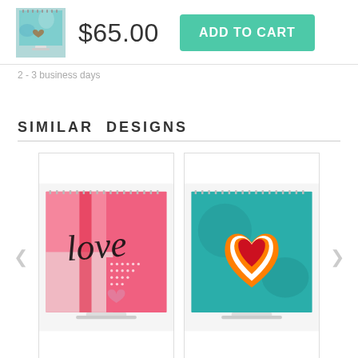[Figure (photo): Small product thumbnail of a shower curtain with teal/blue abstract art and a heart motif]
$65.00
ADD TO CART
2 - 3 business days
SIMILAR DESIGNS
[Figure (photo): Shower curtain with pink/red background and black cursive 'love' text with a small pink heart and white dotted pattern]
[Figure (photo): Shower curtain with teal background featuring layered heart in red, orange, and white]